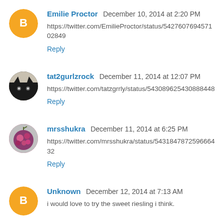Emilie Proctor December 10, 2014 at 2:20 PM
https://twitter.com/EmilieProctor/status/542760769457102849
Reply
tat2gurlzrock December 11, 2014 at 12:07 PM
https://twitter.com/tatzgrrly/status/543089625430888448
Reply
mrsshukra December 11, 2014 at 6:25 PM
https://twitter.com/mrsshukra/status/543184787259666432
Reply
Unknown December 12, 2014 at 7:13 AM
i would love to try the sweet riesling i think.